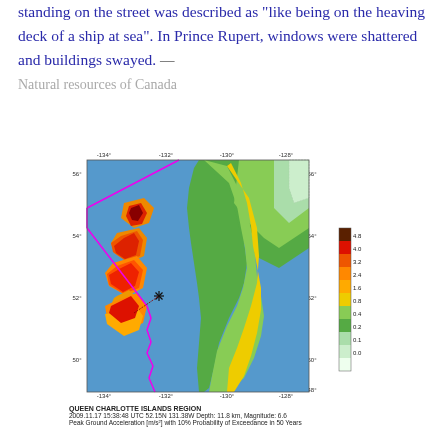standing on the street was described as "like being on the heaving deck of a ship at sea". In Prince Rupert, windows were shattered and buildings swayed. — Natural resources of Canada
[Figure (map): Map of the Queen Charlotte Islands Region showing Peak Ground Acceleration with 10% Probability of Exceedance in 50 Years. The map displays the BC coast and Queen Charlotte Islands with a color scale from white/light green (low acceleration) to dark brown/red (high acceleration near the epicenter). A magenta plate boundary line runs diagonally. An asterisk marks the earthquake epicenter. Legend shows values from 0.0 to 4.8 m/s².]
QUEEN CHARLOTTE ISLANDS REGION
2009.11.17 15:38:48 UTC 52.15N 131.38W Depth: 11.8 km, Magnitude: 6.6
Peak Ground Acceleration [m/s²] with 10% Probability of Exceedance in 50 Years